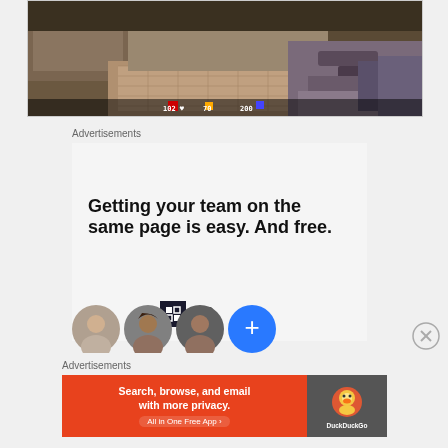[Figure (screenshot): First-person shooter video game screenshot showing a 3D level with stone walls and a gun visible in the lower right. HUD elements visible at the bottom including health (102), ammo (70), and armor (200) indicators.]
Advertisements
[Figure (infographic): P2 advertisement. Logo shows a dark square with grid icon next to 'P2' text. Tagline reads: 'Getting your team on the same page is easy. And free.' Below are four circular avatar images of people, the last being a blue circle with a plus sign.]
Advertisements
[Figure (infographic): DuckDuckGo advertisement with orange/red background. Text reads: 'Search, browse, and email with more privacy. All in One Free App'. Right side shows DuckDuckGo logo with duck icon on dark background.]